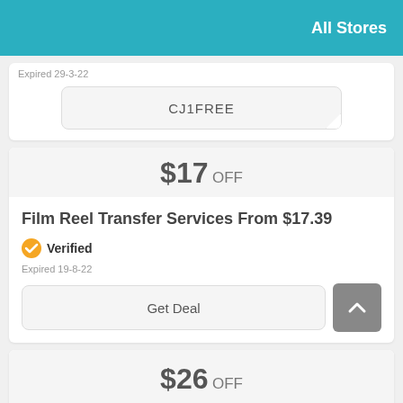All Stores
Expired 29-3-22
CJ1FREE
$17 OFF
Film Reel Transfer Services From $17.39
Verified
Expired 19-8-22
Get Deal
$26 OFF